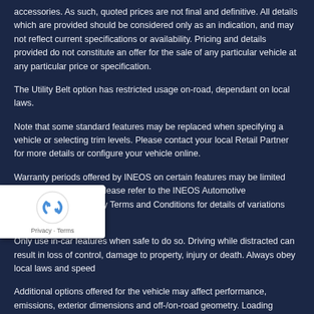accessories. As such, quoted prices are not final and definitive. All details which are provided should be considered only as an indication, and may not reflect current specifications or availability. Pricing and details provided do not constitute an offer for the sale of any particular vehicle at any particular price or specification.
The Utility Belt option has restricted usage on-road, dependant on local laws.
Note that some standard features may be replaced when specifying a vehicle or selecting trim levels. Please contact your local Retail Partner for more details or configure your vehicle online.
Warranty periods offered by INEOS on certain features may be limited and differ in duration. Please refer to the INEOS Automotive Manufacturers Warranty Terms and Conditions for details of variations and exceptions.
Only use in-car features when safe to do so. Driving while distracted can result in loss of control, damage to property, injury or death. Always obey local laws and speed
Additional options offered for the vehicle may affect performance, emissions, exterior dimensions and off-/on-road geometry. Loading equipment on the roof may change the vehicle's handling characteristics and users should not load the vehicle, any options or accessories (or any part of them) beyond their intended capacities.